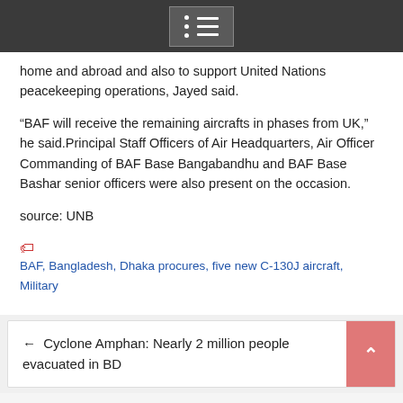[menu icon]
home and abroad and also to support United Nations peacekeeping operations, Jayed said.
“BAF will receive the remaining aircrafts in phases from UK,” he said.Principal Staff Officers of Air Headquarters, Air Officer Commanding of BAF Base Bangabandhu and BAF Base Bashar senior officers were also present on the occasion.
source: UNB
BAF, Bangladesh, Dhaka procures, five new C-130J aircraft, Military
← Cyclone Amphan: Nearly 2 million people evacuated in BD